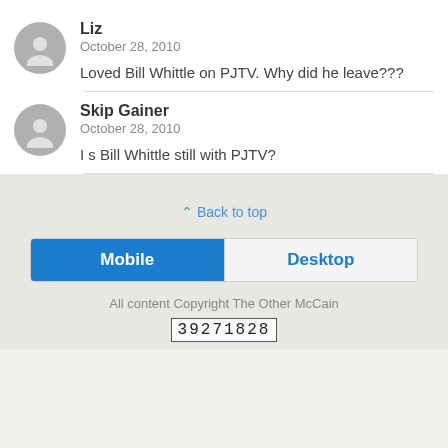Liz
October 28, 2010
Loved Bill Whittle on PJTV. Why did he leave???
Skip Gainer
October 28, 2010
I s Bill Whittle still with PJTV?
⌃ Back to top
[Figure (other): Mobile and Desktop toggle buttons]
All content Copyright The Other McCain
39271828